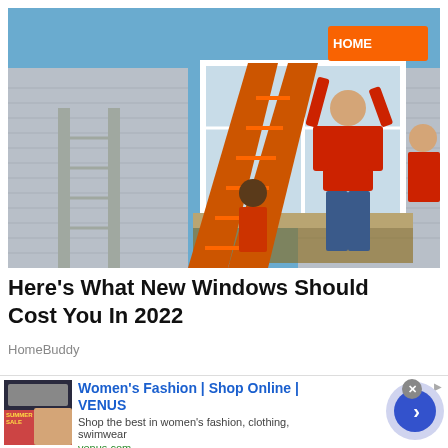[Figure (photo): Workers installing a large white window on the exterior of a gray-sided house. An orange A-frame ladder is in the center, and a person in a red shirt is reaching up to position the window frame. Another worker is visible below the ladder.]
Here's What New Windows Should Cost You In 2022
HomeBuddy
[Figure (screenshot): Advertisement for Women's Fashion Shop Online VENUS. Shows a thumbnail of a summer sale promotion with women's clothing. Text reads: Women's Fashion | Shop Online | VENUS. Shop the best in women's fashion, clothing, swimwear. venus.com. A purple circle with a right-arrow button is on the right side.]